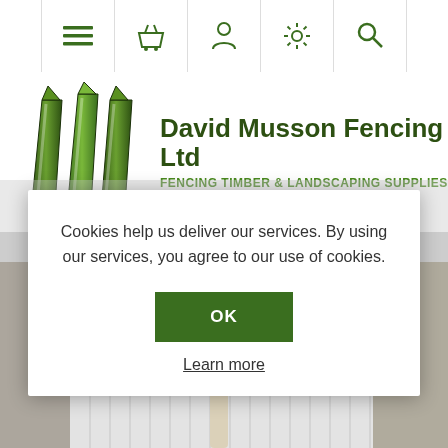[Figure (screenshot): Website navigation bar with hamburger menu, basket, person, settings gear, and search icons in dark green on white background]
[Figure (logo): David Musson Fencing Ltd logo with three green fence post shapes and company name. Tagline: FENCING TIMBER & LANDSCAPING SUPPLIES]
Cookies help us deliver our services. By using our services, you agree to our use of cookies.
OK
Learn more
[Figure (photo): Product image showing a pickaxe or mattock tool leaning against white fence boards with stone wall sections on either side]